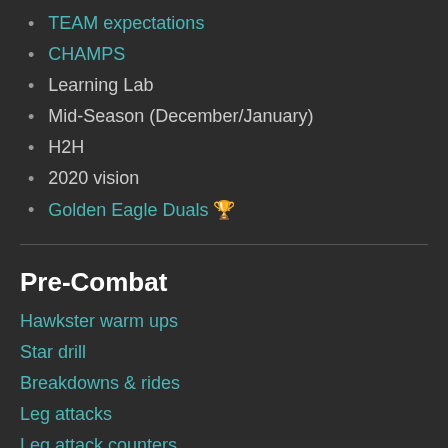TEAM expectations
CHAMPS
Learning Lab
Mid-Season (December/January)
H2H
2020 vision
Golden Eagle Duals 🏆
Pre-Combat
Hawkster warm ups
Star drill
Breakdowns & rides
Leg attacks
Leg attack counters
Stance & motion
Sprinted transition drills